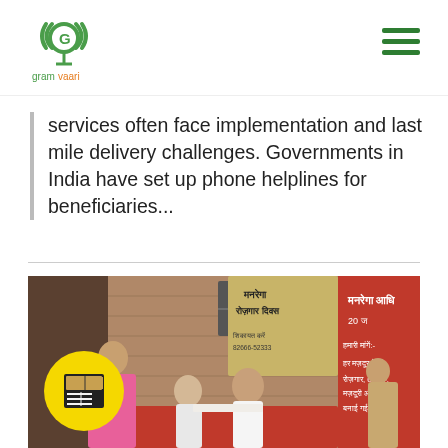gramvaani [logo]
services often face implementation and last mile delivery challenges. Governments in India have set up phone helplines for beneficiaries...
[Figure (photo): People at a MGNREGA Rozgar Divas (employment day) event. Officials sit at a table while women in traditional dress stand nearby. Banners in Hindi about MGNREGA are visible in the background. A yellow circle icon with a newspaper/form symbol is overlaid on the bottom-left of the image.]